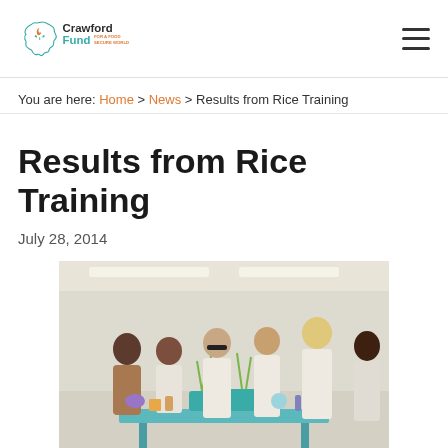[Figure (logo): Crawford Fund for a Food Secure World logo — Australia map outline with flame and leaf motif, teal and orange colors]
You are here: Home > News > Results from Rice Training
Results from Rice Training
July 28, 2014
[Figure (photo): Group of people in white lab coats standing around a table with potted rice plants in a laboratory setting]